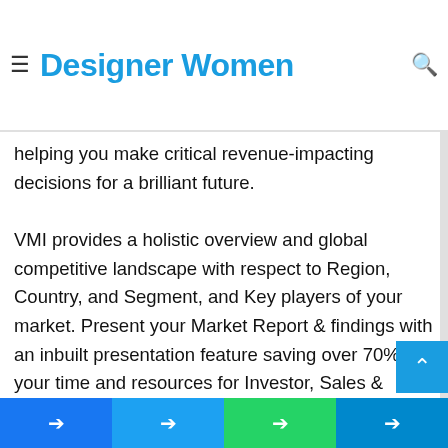Designer Women
platform for narrative storytelling of this market. VMI uses accurate Insights on over 20,000+ emerging & niche markets, helping you make critical revenue-impacting decisions for a brilliant future.
VMI provides a holistic overview and global competitive landscape with respect to Region, Country, and Segment, and Key players of your market. Present your Market Report & findings with an inbuilt presentation feature saving over 70% of your time and resources for Investor, Sales & Marketing, R&D, and Product Development pitches. VMI enables data delivery In Excel and Interactive PDF formats with over 15+ Key Market Indicators for your market.
Facebook Twitter WhatsApp Telegram